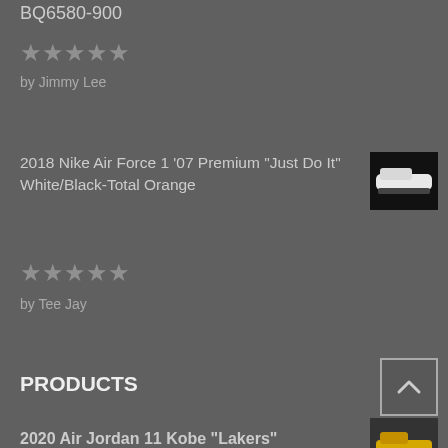BQ6580-900
[Figure (other): 5 empty star rating icons]
by Jimmy Lee
2018 Nike Air Force 1 '07 Premium “Just Do It” White/Black-Total Orange
[Figure (photo): Thumbnail of white Nike Air Force 1 sneaker]
[Figure (other): 5 empty star rating icons]
by Tee Jay
PRODUCTS
2020 Air Jordan 11 Kobe "Lakers" Yellow/Purple-White For Sale
[Figure (photo): Thumbnail of yellow Air Jordan sneaker]
$109.00
2018 Off-White x Undercover x Nike React Element 87 White/Cone-Ice Blue For Sale
[Figure (photo): Thumbnail of white Nike React Element 87 sneaker]
$109.00
2020 New Air Jordan 4 Retro Metallic Pack Red